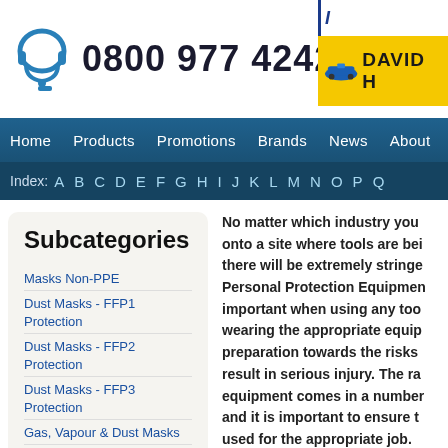0800 977 4242
[Figure (logo): David H company logo with yellow background and air compressor image]
Home  Products  Promotions  Brands  News  About
Index: A B C D E F G H I J K L M N O P Q
Subcategories
Masks Non-PPE
Dust Masks - FFP1 Protection
Dust Masks - FFP2 Protection
Dust Masks - FFP3 Protection
Gas, Vapour & Dust Masks
Respirators
Safety Helmets
Safety Glasses
No matter which industry you onto a site where tools are bei there will be extremely stringe Personal Protection Equipmen important when using any too wearing the appropriate equip preparation towards the risks result in serious injury. The ra equipment comes in a number and it is important to ensure t used for the appropriate job.